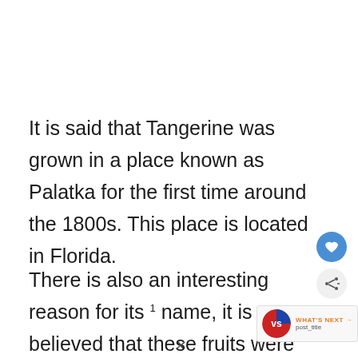It is said that Tangerine was grown in a place known as Palatka for the first time around the 1800s. This place is located in Florida.
There is also an interesting reason for its name, it is believed that these fruits were called Tangerines because they w[ere imported] from a Moroccan city known as Tangier.